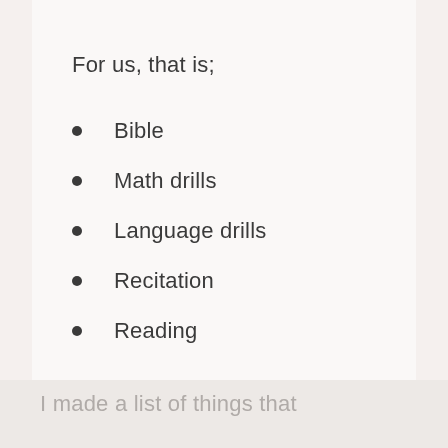For us, that is;
Bible
Math drills
Language drills
Recitation
Reading
I made a list of things that